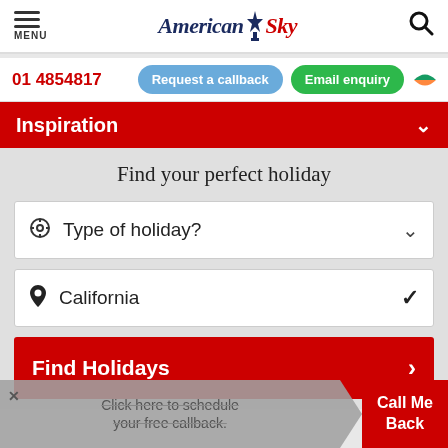[Figure (logo): American Sky logo with Statue of Liberty icon, hamburger menu icon with MENU label, and search magnifying glass icon]
01 4854817
Request a callback
Email enquiry
Inspiration
Find your perfect holiday
Type of holiday?
California
Find Holidays
Click here to schedule your free callback.
Call Me Back